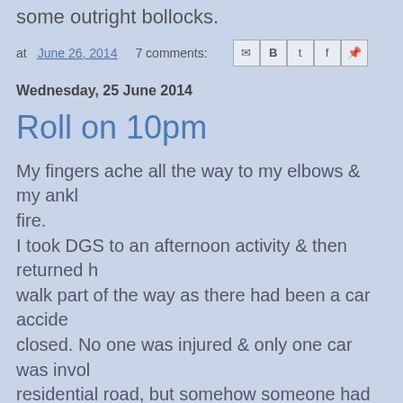some outright bollocks.
at June 26, 2014   7 comments:
Wednesday, 25 June 2014
Roll on 10pm
My fingers ache all the way to my elbows & my ankles are on fire.
I took DGS to an afternoon activity & then returned h... walk part of the way as there had been a car accide... closed. No one was injured & only one car was invol... residential road, but somehow someone had rolled t... roof, I assume they were going too fast.
At 10 I shall collect my L&M from work, once home ... painkillers & go to bed!
I worked 7:30 'til 5, my L&M from 12 'til 10 we are bo...